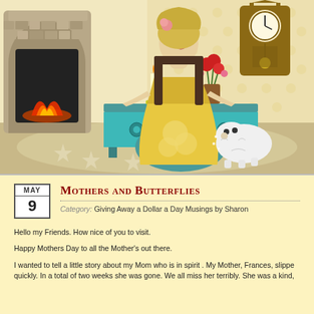[Figure (illustration): Colorful illustration of an elegantly dressed woman in a yellow floral dress sitting at a teal writing desk with a candle, flowers in a vase, a stone fireplace with fire on the left, a grandmother clock on the upper right, a fluffy white dog on the right, on a beige and tan background with polka dot wallpaper.]
Mothers and Butterflies
Category: Giving Away a Dollar a Day Musings by Sharon
Hello my Friends. How nice of you to visit.
Happy Mothers Day to all the Mother’s out there.
I wanted to tell a little story about my Mom who is in spirit . My Mother, Frances, slippe quickly. In a total of two weeks she was gone. We all miss her terribly. She was a kind,